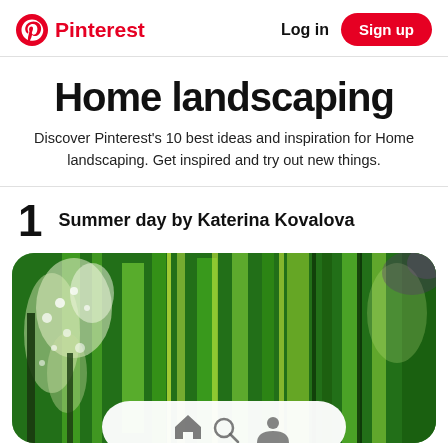Pinterest  Log in  Sign up
Home landscaping
Discover Pinterest's 10 best ideas and inspiration for Home landscaping. Get inspired and try out new things.
1  Summer day by Katerina Kovalova
[Figure (photo): Abstract green landscape painting with lush green brushstrokes, trees with white flowers on the left, various shades of green filling the canvas, painterly impressionist style.]
Home | Search | Profile navigation bar